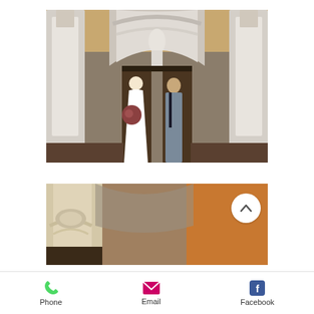[Figure (photo): Wedding couple standing at ornate church entrance with large white arched columns and a statue visible above the doorway. Bride in white gown holding bouquet, groom in grey suit.]
[Figure (photo): Partial view of ornate church interior with detailed stone columns and warm ambient lighting, with a circular scroll-up navigation button overlaid.]
Phone
Email
Facebook